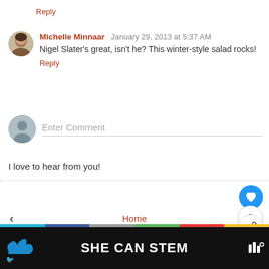Reply
Michelle Minnaar  January 29, 2013 at 5:37 AM
Nigel Slater's great, isn't he? This winter-style salad rocks!
Reply
Enter Comment
I love to hear from you!
Home
View web version
[Figure (screenshot): SHE CAN STEM advertisement banner at the bottom of the page]